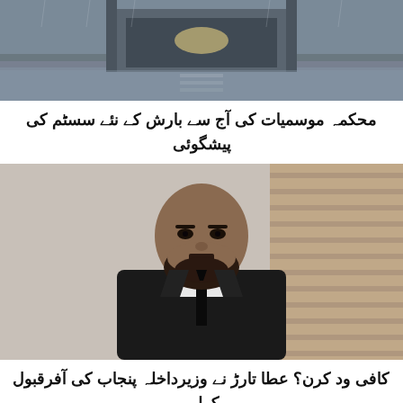[Figure (photo): Flooded road or rainy scene with wet streets, grey sky, vehicles in background]
محکمہ موسمیات کی آج سے بارش کے نئے سسٹم کی پیشگوئی
[Figure (photo): Portrait of a bearded man wearing a black suit and black tie, seated in front of a wooden blind background]
کافی ود کرن؟ عطا تارڑ نے وزیرداخلہ پنجاب کی آفرقبول کرلی
[Figure (photo): Partial image visible at bottom, appears to be outdoors scene with blue tones]